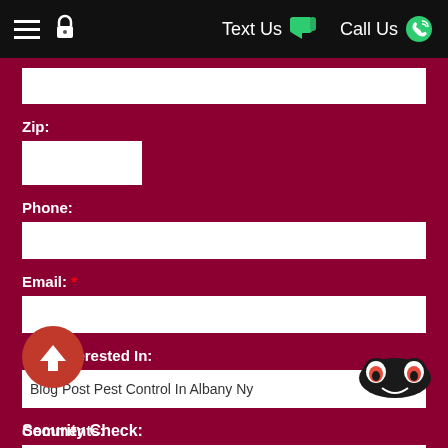Text Us | Call Us
Zip:
Phone:
Email: *
I Am Interested In:
Blog Post Pest Control In Albany Ny
Comments:
Security Check: